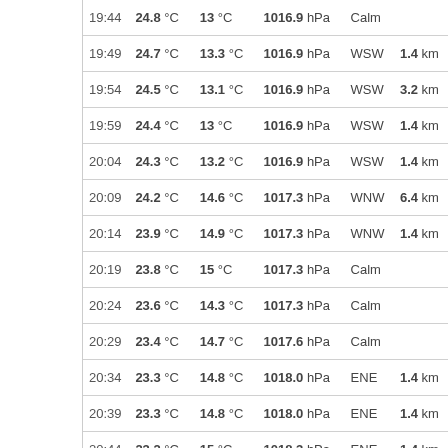| Time | Temp | Dew Point | Pressure | Wind Dir | Wind Speed |
| --- | --- | --- | --- | --- | --- |
| 19:44 | 24.8 °C | 13 °C | 1016.9 hPa | Calm |  |
| 19:49 | 24.7 °C | 13.3 °C | 1016.9 hPa | WSW | 1.4 km |
| 19:54 | 24.5 °C | 13.1 °C | 1016.9 hPa | WSW | 3.2 km |
| 19:59 | 24.4 °C | 13 °C | 1016.9 hPa | WSW | 1.4 km |
| 20:04 | 24.3 °C | 13.2 °C | 1016.9 hPa | WSW | 1.4 km |
| 20:09 | 24.2 °C | 14.6 °C | 1017.3 hPa | WNW | 6.4 km |
| 20:14 | 23.9 °C | 14.9 °C | 1017.3 hPa | WNW | 1.4 km |
| 20:19 | 23.8 °C | 15 °C | 1017.3 hPa | Calm |  |
| 20:24 | 23.6 °C | 14.3 °C | 1017.3 hPa | Calm |  |
| 20:29 | 23.4 °C | 14.7 °C | 1017.6 hPa | Calm |  |
| 20:34 | 23.3 °C | 14.8 °C | 1018.0 hPa | ENE | 1.4 km |
| 20:39 | 23.3 °C | 14.8 °C | 1018.0 hPa | ENE | 1.4 km |
| 20:44 | 23.2 °C | 15 °C | 1018.3 hPa | ENE | 1.4 km |
| 20:49 | 23.1 °C | 14.6 °C | 1018.3 hPa | East | 1.4 km |